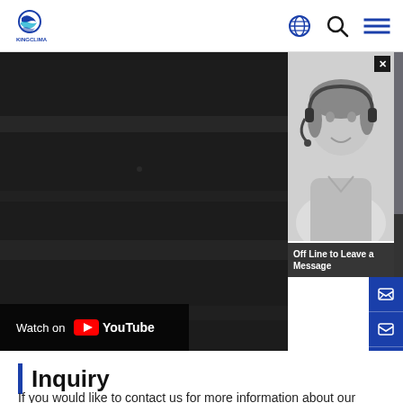KingClima logo and navigation icons (globe, search, menu)
[Figure (screenshot): Dark background video frame with 'Watch on YouTube' overlay button on lower left, and a customer service chat popup on the right showing a woman with a headset, 'Off Line to Leave a Message' text, and blue sidebar icons for chat, email, and WhatsApp. 'Photos By K' text visible at bottom right.]
Inquiry
If you would like to contact us for more information about our products, please fill out the form below, thank you.